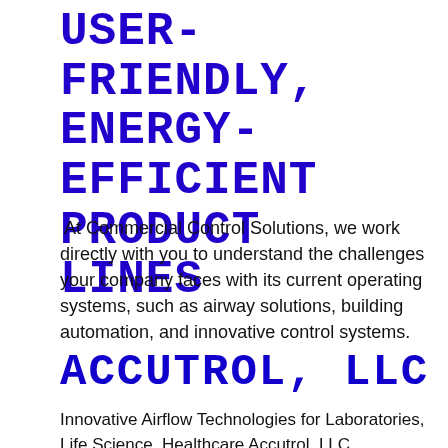USER-FRIENDLY, ENERGY-EFFICIENT PRODUCT LINES
At Commercial Control Solutions, we work directly with you to understand the challenges your company faces with its current operating systems, such as airway solutions, building automation, and innovative control systems.
ACCUTROL, LLC
Innovative Airflow Technologies for Laboratories, Life Science, Healthcare Accutrol, LLC specializes in the